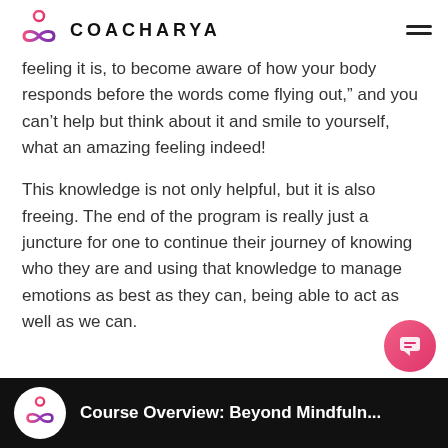COACHARYA
feeling it is, to become aware of how your body responds before the words come flying out,” and you can’t help but think about it and smile to yourself, what an amazing feeling indeed!
This knowledge is not only helpful, but it is also freeing. The end of the program is really just a juncture for one to continue their journey of knowing who they are and using that knowledge to manage emotions as best as they can, being able to act as well as we can.
[Figure (screenshot): Bottom notification bar with Coacharya logo and text 'Course Overview: Beyond Mindfuln...' on dark background, with pink chat button overlay]